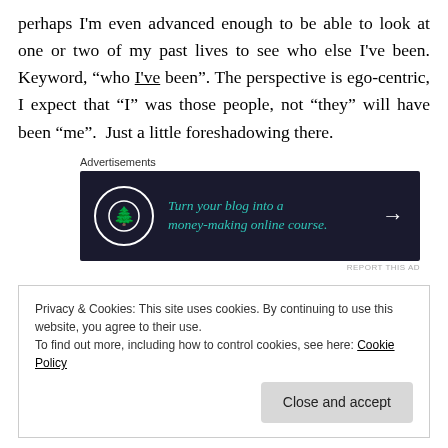perhaps I'm even advanced enough to be able to look at one or two of my past lives to see who else I've been. Keyword, “who I've been”. The perspective is ego-centric, I expect that “I” was those people, not “they” will have been “me”.  Just a little foreshadowing there.
[Figure (infographic): Advertisement banner with dark navy background showing 'Turn your blog into a money-making online course.' with a tree icon and arrow.]
After some time, I decide I’d like to reincarnate back on Earth and have another go at things.  According to spiritual
Privacy & Cookies: This site uses cookies. By continuing to use this website, you agree to their use.
To find out more, including how to control cookies, see here: Cookie Policy
in the oth... my grandmother is already on Earth, and is